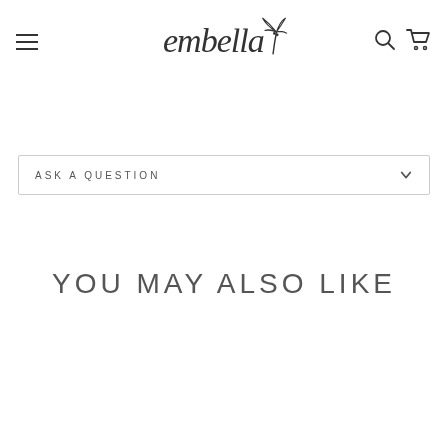embella [logo with palm tree]
ASK A QUESTION
YOU MAY ALSO LIKE